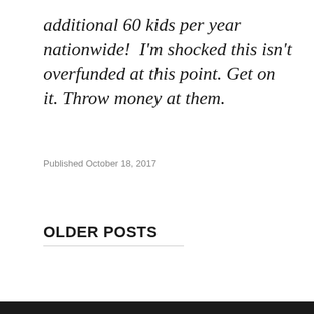additional 60 kids per year nationwide!  I'm shocked this isn't overfunded at this point. Get on it. Throw money at them.
Published October 18, 2017
OLDER POSTS